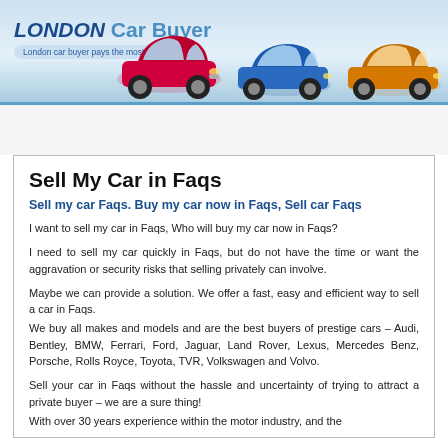[Figure (logo): London Car Buyer logo with tagline 'London car buyer pays the most' and three car illustrations (red Mini, blue hatchback, orange hatchback) on a light blue gradient banner]
Sell My Car in Faqs
Sell my car Faqs. Buy my car now in Faqs, Sell car Faqs
I want to sell my car in Faqs, Who will buy my car now in Faqs?
I need to sell my car quickly in Faqs, but do not have the time or want the aggravation or security risks that selling privately can involve.
Maybe we can provide a solution. We offer a fast, easy and efficient way to sell a car in Faqs.
We buy all makes and models and are the best buyers of prestige cars – Audi, Bentley, BMW, Ferrari, Ford, Jaguar, Land Rover, Lexus, Mercedes Benz, Porsche, Rolls Royce, Toyota, TVR, Volkswagen and Volvo.
Sell your car in Faqs without the hassle and uncertainty of trying to attract a private buyer – we are a sure thing!
With over 30 years experience within the motor industry, and the